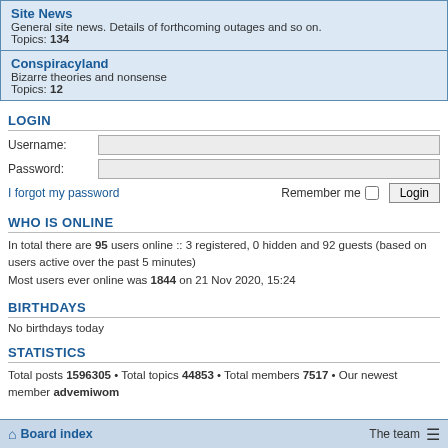Site News
General site news. Details of forthcoming outages and so on.
Topics: 134
Conspiracyland
Bizarre theories and nonsense
Topics: 12
LOGIN
Username:
Password:
I forgot my password   Remember me  Login
WHO IS ONLINE
In total there are 95 users online :: 3 registered, 0 hidden and 92 guests (based on users active over the past 5 minutes)
Most users ever online was 1844 on 21 Nov 2020, 15:24
BIRTHDAYS
No birthdays today
STATISTICS
Total posts 1596305 • Total topics 44853 • Total members 7517 • Our newest member advemiwom
Board index   The team